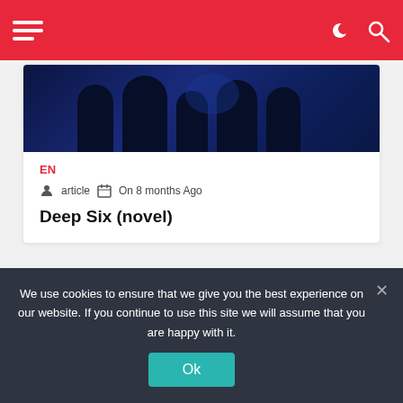Navigation bar with hamburger menu, moon icon, and search icon
[Figure (photo): Dark blue-toned image with silhouettes, partial view from card top]
EN
article   On 8 months Ago
Deep Six (novel)
[Figure (photo): Green forest canopy photo with tree trunks and leafy branches]
We use cookies to ensure that we give you the best experience on our website. If you continue to use this site we will assume that you are happy with it.
Ok